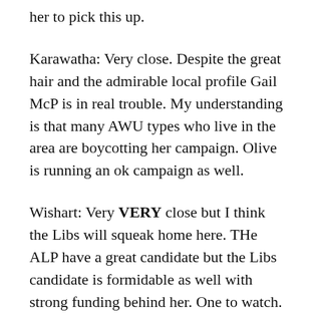her to pick this up.
Karawatha: Very close. Despite the great hair and the admirable local profile Gail McP is in real trouble. My understanding is that many AWU types who live in the area are boycotting her campaign. Olive is running an ok campaign as well.
Wishart: Very VERY close but I think the Libs will squeak home here. THe ALP have a great candidate but the Libs candidate is formidable as well with strong funding behind her. One to watch.
McDowall: Safe as houses